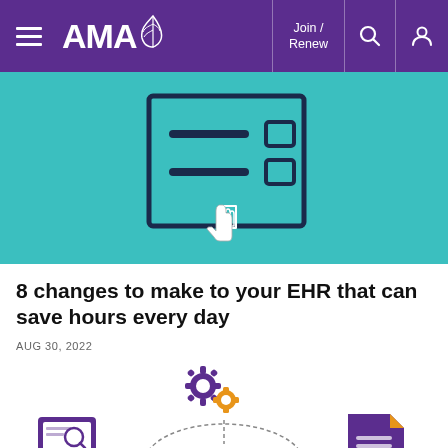AMA — Join / Renew
[Figure (illustration): Teal/cyan background hero image showing a checklist icon with two rows and checkboxes, with a hand/cursor pointer icon below it]
8 changes to make to your EHR that can save hours every day
AUG 30, 2022
[Figure (illustration): Infographic showing purple and orange gear icon at top connected by dashed lines to a purple monitor with magnifying glass on the left and a purple document icon on the right, with a circular dashed arc element in the center bottom]